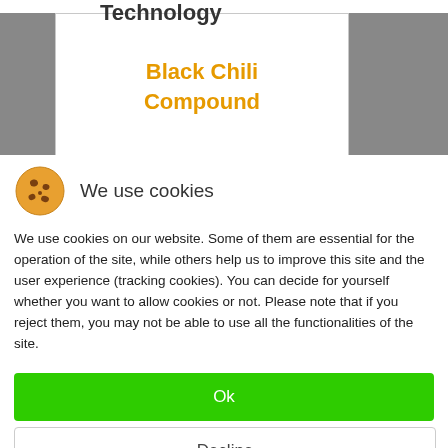[Figure (screenshot): Background gray image with a white box containing bold orange text 'Black Chili Compound' and partial heading 'Technology' visible at top]
Black Chili Compound
[Figure (illustration): Cookie emoji icon (orange cookie with brown chips)]
We use cookies
We use cookies on our website. Some of them are essential for the operation of the site, while others help us to improve this site and the user experience (tracking cookies). You can decide for yourself whether you want to allow cookies or not. Please note that if you reject them, you may not be able to use all the functionalities of the site.
Ok
Decline
More information